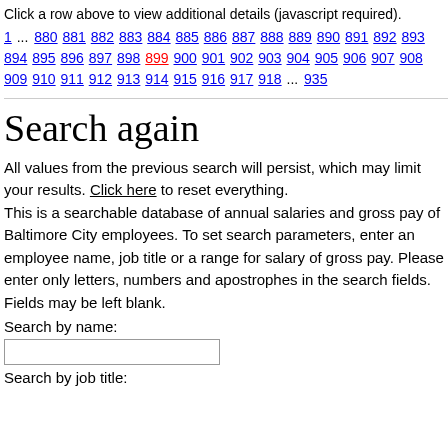Click a row above to view additional details (javascript required).
1 ... 880 881 882 883 884 885 886 887 888 889 890 891 892 893 894 895 896 897 898 899 900 901 902 903 904 905 906 907 908 909 910 911 912 913 914 915 916 917 918 ... 935
Search again
All values from the previous search will persist, which may limit your results. Click here to reset everything. This is a searchable database of annual salaries and gross pay of Baltimore City employees. To set search parameters, enter an employee name, job title or a range for salary of gross pay. Please enter only letters, numbers and apostrophes in the search fields. Fields may be left blank.
Search by name:
Search by job title: